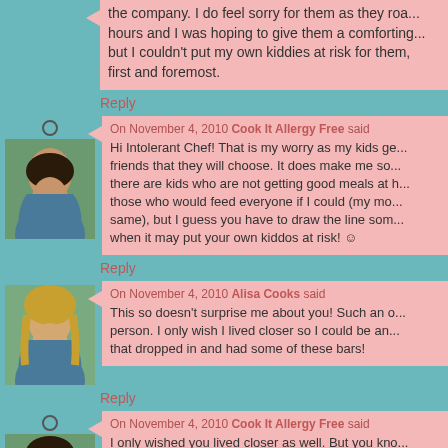the company. I do feel sorry for them as they rou... hours and I was hoping to give them a comforting... but I couldn't put my own kiddies at risk for them,... first and foremost.
Reply
On November 4, 2010 Cook It Allergy Free said
Hi Intolerant Chef! That is my worry as my kids ge... friends that they will choose. It does make me so... there are kids who are not getting good meals at h... those who would feed everyone if I could (my mo... same), but I guess you have to draw the line som... when it may put your own kiddos at risk! ☺
Reply
On November 4, 2010 Alisa Cooks said
This so doesn't surprise me about you! Such an o... person. I only wish I lived closer so I could be an... that dropped in and had some of these bars!
Reply
On November 4, 2010 Cook It Allergy Free said
I only wished you lived closer as well. But you kno... are near AZ you have a bed and a tray of these b...